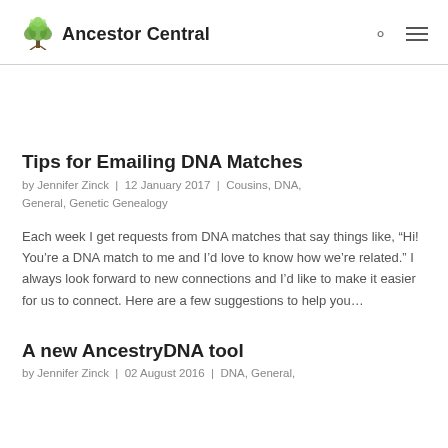Ancestor Central
Tips for Emailing DNA Matches
by Jennifer Zinck  |  12 January 2017  |  Cousins, DNA, General, Genetic Genealogy
Each week I get requests from DNA matches that say things like, “Hi! You’re a DNA match to me and I’d love to know how we’re related.” I always look forward to new connections and I’d like to make it easier for us to connect. Here are a few suggestions to help you…
A new AncestryDNA tool
by Jennifer Zinck  |  02 August 2016  |  DNA, General,